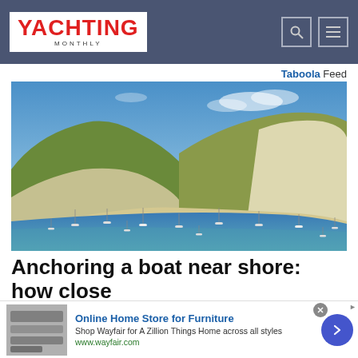YACHTING MONTHLY
Taboola Feed
[Figure (photo): Aerial photo of a coastal cove with white chalk cliffs and green hills, with many sailing boats anchored in the turquoise water below — likely Lulworth Cove, Dorset, England.]
Anchoring a boat near shore: how close
Online Home Store for Furniture
Shop Wayfair for A Zillion Things Home across all styles
www.wayfair.com